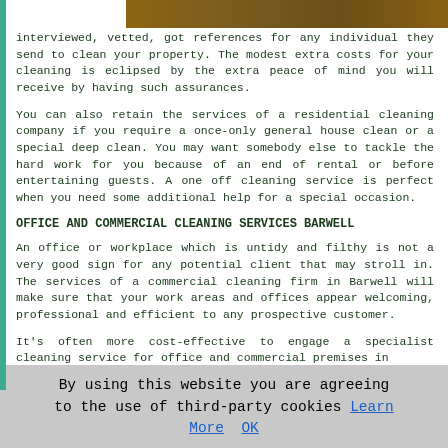[Figure (photo): Partial image of a floor or surface visible at the top of the page]
interviewed, vetted, got references for any individual they send to clean your property. The modest extra costs for your cleaning is eclipsed by the extra peace of mind you will receive by having such assurances.
You can also retain the services of a residential cleaning company if you require a once-only general house clean or a special deep clean. You may want somebody else to tackle the hard work for you because of an end of rental or before entertaining guests. A one off cleaning service is perfect when you need some additional help for a special occasion.
OFFICE AND COMMERCIAL CLEANING SERVICES BARWELL
An office or workplace which is untidy and filthy is not a very good sign for any potential client that may stroll in. The services of a commercial cleaning firm in Barwell will make sure that your work areas and offices appear welcoming, professional and efficient to any prospective customer.
It's often more cost-effective to engage a specialist cleaning service for office and commercial premises in
By using this website you are agreeing to the use of third-party cookies Learn More  OK